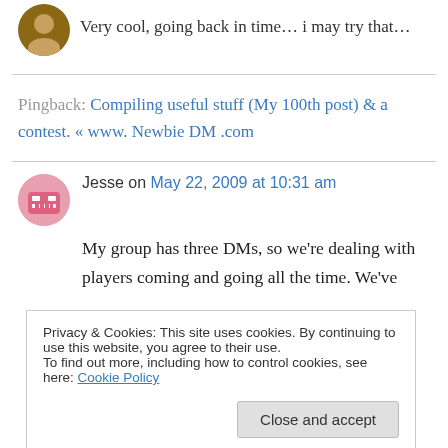Very cool, going back in time… i may try that…
Pingback: Compiling useful stuff (My 100th post) & a contest. « www. Newbie DM .com
Jesse on May 22, 2009 at 10:31 am
My group has three DMs, so we're dealing with players coming and going all the time. We've
Privacy & Cookies: This site uses cookies. By continuing to use this website, you agree to their use.
To find out more, including how to control cookies, see here: Cookie Policy
Close and accept
go off on an assignment, and the current DM